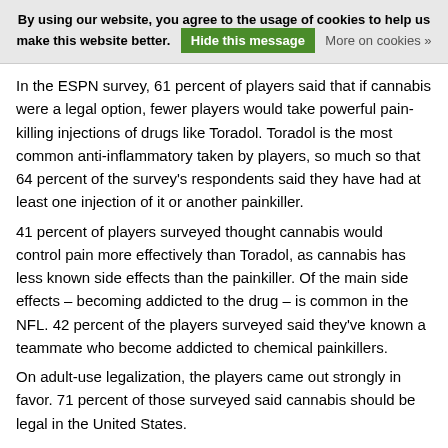By using our website, you agree to the usage of cookies to help us make this website better. Hide this message More on cookies »
In the ESPN survey, 61 percent of players said that if cannabis were a legal option, fewer players would take powerful pain-killing injections of drugs like Toradol. Toradol is the most common anti-inflammatory taken by players, so much so that 64 percent of the survey's respondents said they have had at least one injection of it or another painkiller.
41 percent of players surveyed thought cannabis would control pain more effectively than Toradol, as cannabis has less known side effects than the painkiller. Of the main side effects – becoming addicted to the drug – is common in the NFL. 42 percent of the players surveyed said they've known a teammate who become addicted to chemical painkillers.
On adult-use legalization, the players came out strongly in favor. 71 percent of those surveyed said cannabis should be legal in the United States.